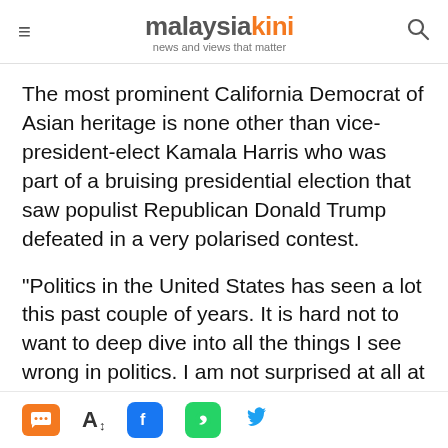malaysiakini — news and views that matter
The most prominent California Democrat of Asian heritage is none other than vice-president-elect Kamala Harris who was part of a bruising presidential election that saw populist Republican Donald Trump defeated in a very polarised contest.
"Politics in the United States has seen a lot this past couple of years. It is hard not to want to deep dive into all the things I see wrong in politics. I am not surprised at all at how polarised things are.
Social share icons: chat, font resize, Facebook, WhatsApp, Twitter